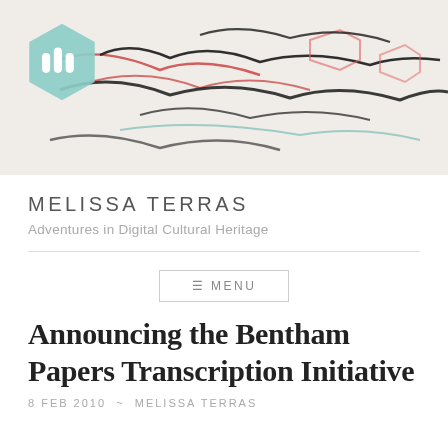[Figure (illustration): Header image showing a manuscript or handwritten document with red and black ink annotations, with a mint/teal hexagonal logo overlaid in the top-left corner containing a white 'm' symbol made of three rectangles.]
MELISSA TERRAS
Adventures in Digital Cultural Heritage
MENU
Announcing the Bentham Papers Transcription Initiative
8 FEB 2010 ~ MELISSA TERRAS